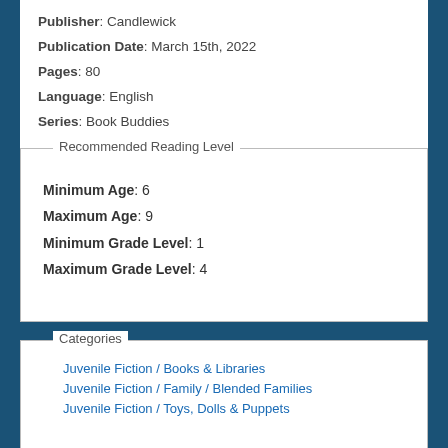Publisher: Candlewick
Publication Date: March 15th, 2022
Pages: 80
Language: English
Series: Book Buddies
Recommended Reading Level
Minimum Age: 6
Maximum Age: 9
Minimum Grade Level: 1
Maximum Grade Level: 4
Categories
Juvenile Fiction / Books & Libraries
Juvenile Fiction / Family / Blended Families
Juvenile Fiction / Toys, Dolls & Puppets